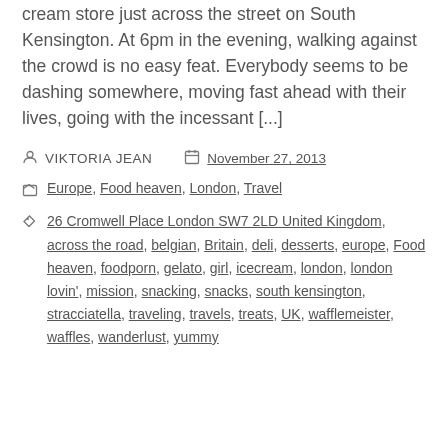cream store just across the street on South Kensington. At 6pm in the evening, walking against the crowd is no easy feat. Everybody seems to be dashing somewhere, moving fast ahead with their lives, going with the incessant [...]
VIKTORIA JEAN   November 27, 2013
Europe, Food heaven, London, Travel
26 Cromwell Place London SW7 2LD United Kingdom, across the road, belgian, Britain, deli, desserts, europe, Food heaven, foodporn, gelato, girl, icecream, london, london lovin', mission, snacking, snacks, south kensington, stracciatella, traveling, travels, treats, UK, wafflemeister, waffles, wanderlust, yummy